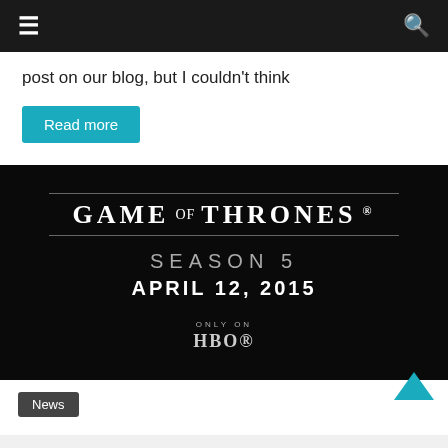Navigation bar with menu and search icons
post on our blog, but I couldn't think
Read more
[Figure (photo): Game of Thrones Season 5 promotional image on black background. Shows 'GAME OF THRONES' title, 'SEASON 5', 'APRIL 12, 2015', and 'ONLY ON HBO' logo.]
News
Game of Thrones S5 Prem...